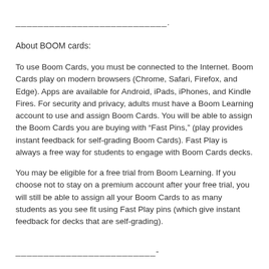_____________________________.
About BOOM cards:
To use Boom Cards, you must be connected to the Internet. Boom Cards play on modern browsers (Chrome, Safari, Firefox, and Edge). Apps are available for Android, iPads, iPhones, and Kindle Fires. For security and privacy, adults must have a Boom Learning account to use and assign Boom Cards. You will be able to assign the Boom Cards you are buying with “Fast Pins,” (play provides instant feedback for self-grading Boom Cards). Fast Play is always a free way for students to engage with Boom Cards decks.
You may be eligible for a free trial from Boom Learning. If you choose not to stay on a premium account after your free trial, you will still be able to assign all your Boom Cards to as many students as you see fit using Fast Play pins (which give instant feedback for decks that are self-grading).
__________________________-